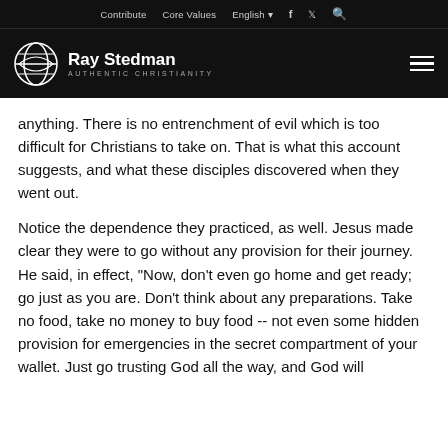Contribute   Core Values   English   f   Twitter   Search
Ray Stedman AUTHENTIC CHRISTIANITY
anything. There is no entrenchment of evil which is too difficult for Christians to take on. That is what this account suggests, and what these disciples discovered when they went out.
Notice the dependence they practiced, as well. Jesus made clear they were to go without any provision for their journey. He said, in effect, "Now, don't even go home and get ready; go just as you are. Don't think about any preparations. Take no food, take no money to buy food -- not even some hidden provision for emergencies in the secret compartment of your wallet. Just go trusting God all the way, and God will